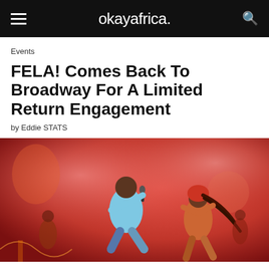okayafrica.
Events
FELA! Comes Back To Broadway For A Limited Return Engagement
by Eddie STATS
[Figure (photo): Two performers on stage under red lighting. A male performer in a light blue outfit is mid-jump holding a microphone, while a female performer in an orange outfit dances beside him. Background shows colorful stage set with other performers.]